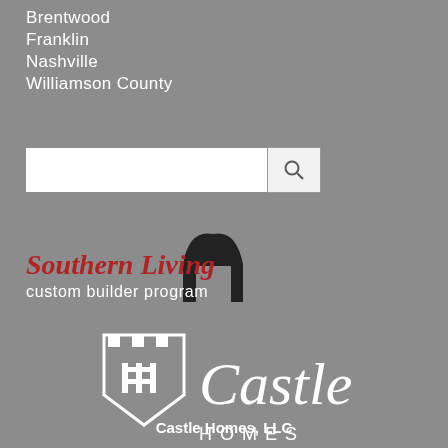Brentwood
Franklin
Nashville
Williamson County
[Figure (screenshot): Search input box with magnifying glass icon button]
[Figure (logo): Southern Living custom builder program logo with red text and house silhouette]
[Figure (logo): Castle Homes logo with white shield/castle icon and Castle Homes text]
Castle Homes, LLC